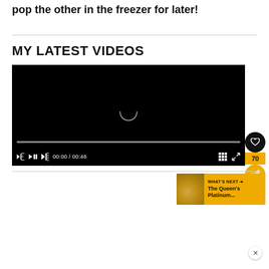pop the other in the freezer for later!
MY LATEST VIDEOS
[Figure (screenshot): Video player showing a black screen with a loading spinner. Controls show 00:00 / 00:46 time display, mute button, grid icon, and fullscreen icon. Progress bar at bottom. Side buttons show heart icon, count 70, and share icon. 'What's Next' panel shows The Queen's Platinum...]
[Figure (photo): Bottom portion of page showing a dark grey/blue textured surface photo, partially visible]